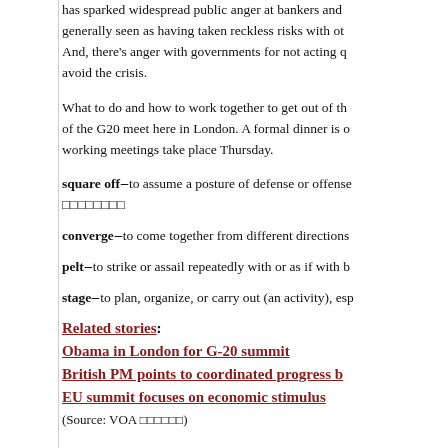has sparked widespread public anger at bankers and generally seen as having taken reckless risks with oth... And, there's anger with governments for not acting q... avoid the crisis.
What to do and how to work together to get out of th... of the G20 meet here in London. A formal dinner is o... working meetings take place Thursday.
square off – to assume a posture of defense or offense... [Japanese characters]
converge – to come together from different directions...
pelt – to strike or assail repeatedly with or as if with b...
stage – to plan, organize, or carry out (an activity), es...
Related stories:
Obama in London for G-20 summit
British PM points to coordinated progress b...
EU summit focuses on economic stimulus
(Source: VOA [Japanese characters])